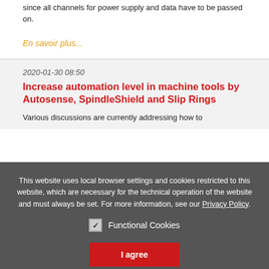since all channels for power supply and data have to be passed on.
En savoir plus...
2020-01-30 08:50
Increase automation level in machine tools by Autosense, SpindleShield and Slip Rings
Various discussions are currently addressing how to
This website uses local browser settings and cookies restricted to this website, which are necessary for the technical operation of the website and must always be set. For more information, see our Privacy Policy.
Functional Cookies
I agree